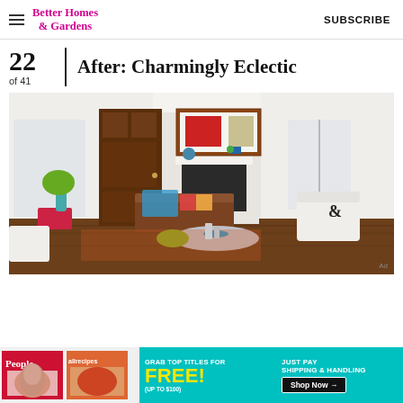Better Homes & Gardens | SUBSCRIBE
22 of 41 | After: Charmingly Eclectic
[Figure (photo): Bright eclectic living room with white walls, dark wood front door, fireplace with colorful art above mantle, brown leather sofa with blue throw, white armchairs, round coffee table, green pouf, red side table, and patterned rug.]
[Figure (photo): Advertisement banner: People and allrecipes magazines shown on left; teal background with 'GRAB TOP TITLES FOR FREE! (UP TO $100) JUST PAY SHIPPING & HANDLING — Shop Now →' on right.]